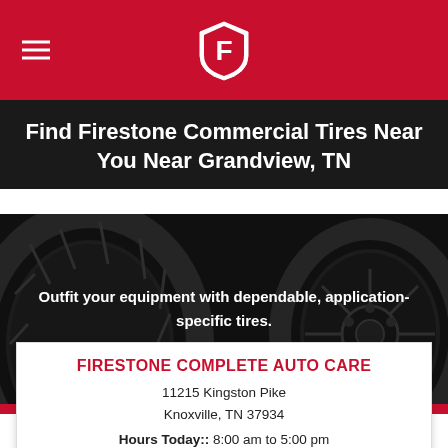Firestone header with logo
Find Firestone Commercial Tires Near You Near Grandview, TN
[Figure (photo): Dark background image of large commercial/agricultural tires with tread detail visible]
Outfit your equipment with dependable, application-specific tires.
FIRESTONE COMPLETE AUTO CARE
11215 Kingston Pike
Knoxville, TN 37934
Hours Today:: 8:00 am to 5:00 pm